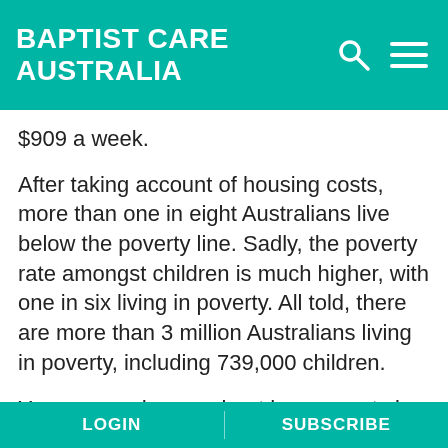BAPTIST CARE AUSTRALIA
$909 a week.
After taking account of housing costs, more than one in eight Australians live below the poverty line. Sadly, the poverty rate amongst children is much higher, with one in six living in poverty. All told, there are more than 3 million Australians living in poverty, including 739,000 children.
You can read more about how poverty is defined and measured in Australia here.
Social security
LOGIN    SUBSCRIBE